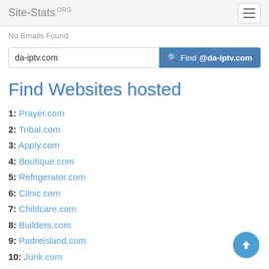Site-Stats.ORG
No Emails Found
da-iptv.com  Find @da-iptv.com
Find Websites hosted
1: Prayer.com
2: Tribal.com
3: Apply.com
4: Boutique.com
5: Refrigerator.com
6: Clinic.com
7: Childcare.com
8: Builders.com
9: Padreisland.com
10: Junk.com